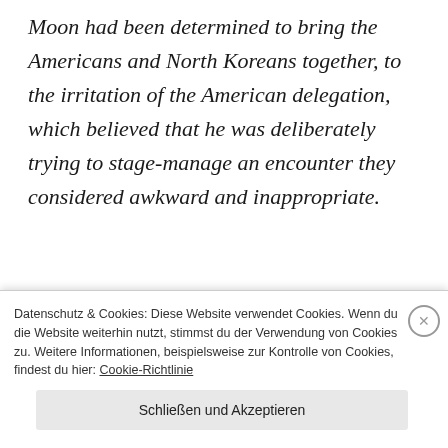Moon had been determined to bring the Americans and North Koreans together, to the irritation of the American delegation, which believed that he was deliberately trying to stage-manage an encounter they considered awkward and inappropriate.
.
Mr. Moon, by contrast, hosted Ms. Kim for a lavish luncheon at the presidential Blue House, and she
Datenschutz & Cookies: Diese Website verwendet Cookies. Wenn du die Website weiterhin nutzt, stimmst du der Verwendung von Cookies zu. Weitere Informationen, beispielsweise zur Kontrolle von Cookies, findest du hier: Cookie-Richtlinie
Schließen und Akzeptieren